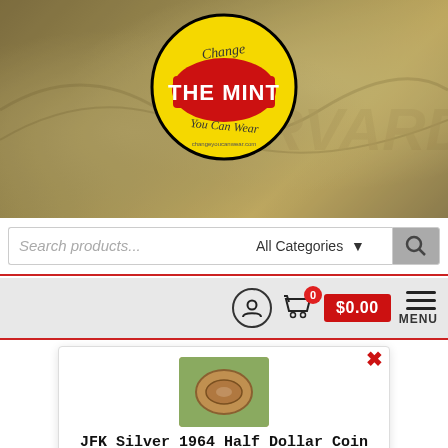[Figure (logo): The Mint logo — yellow circular badge with red center reading THE MINT in white bold text, with 'Change You Can Wear' script around it]
Search products...
All Categories
[Figure (screenshot): Navigation bar with user icon, shopping cart with 0 badge, $0.00 price tag, and MENU hamburger icon]
[Figure (photo): Product thumbnail photo of JFK coin ring on greenery background]
JFK Silver 1964 Half Dollar Coin Ring (tails side out) - 90% silver
$94.95
Select options